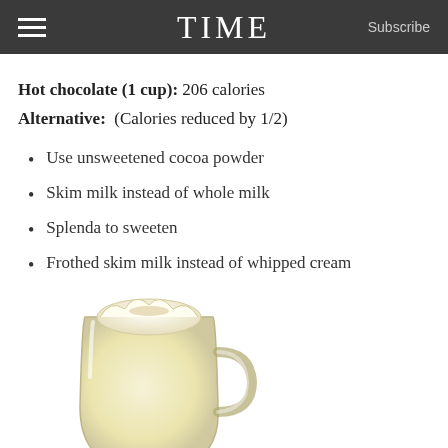TIME  Subscribe
Hot chocolate (1 cup): 206 calories
Alternative:  (Calories reduced by 1/2)
Use unsweetened cocoa powder
Skim milk instead of whole milk
Splenda to sweeten
Frothed skim milk instead of whipped cream
[Figure (photo): A glass mug filled with a creamy pale yellow drink (eggnog or white hot chocolate) topped with whipped cream and a sprinkle of spice. The mug sits on a decorative plate with holiday items including a red poinsettia flower, a star-shaped gingerbread cookie, cinnamon sticks, and holly.]